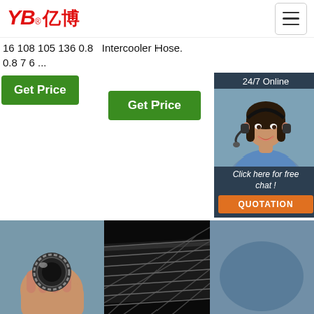[Figure (logo): YB 亿博 logo in red italic]
16 108 105 136 0.8  Intercooler Hose.
0.8 7 6 ...
Get Price
Get Price
24/7 Online
[Figure (photo): Close-up of a hydraulic hose end held by hand]
[Figure (photo): Close-up of a flexible hydraulic hose, black rubber with braid]
[Figure (photo): Customer service agent photo with 24/7 online chat overlay]
Click here for free chat !
QUOTATION
Hydraulic Hose
Flexible Hydraulic Hose
Parker Hannifin
1 Wire Braid
2021-6-